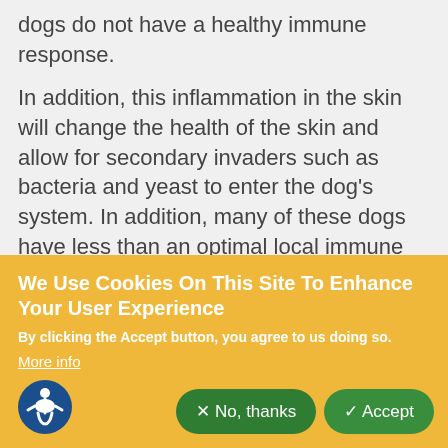dogs do not have a healthy immune response.
In addition, this inflammation in the skin will change the health of the skin and allow for secondary invaders such as bacteria and yeast to enter the dog's system. In addition, many of these dogs have less than an optimal local immune response to these secondary invaders
We Use Cookies On This Site To Enhance Your User Experience
By clicking the Accept button, you agree to us doing so.
More info